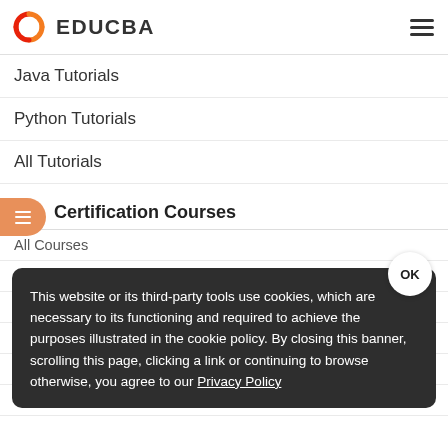EDUCBA
Java Tutorials
Python Tutorials
All Tutorials
Certification Courses
All Courses
Software Development – Become One
Become a Business Intelligence...
Java Master...
Become a Selenium Automation Tester
Become an IoT Developer
This website or its third-party tools use cookies, which are necessary to its functioning and required to achieve the purposes illustrated in the cookie policy. By closing this banner, scrolling this page, clicking a link or continuing to browse otherwise, you agree to our Privacy Policy